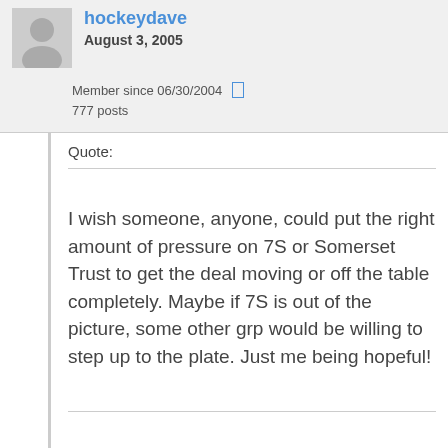hockeydave
August 3, 2005
Member since 06/30/2004
777 posts
Quote:
I wish someone, anyone, could put the right amount of pressure on 7S or Somerset Trust to get the deal moving or off the table completely. Maybe if 7S is out of the picture, some other grp would be willing to step up to the plate. Just me being hopeful!